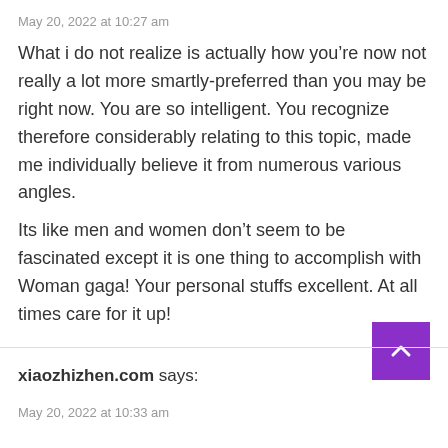May 20, 2022 at 10:27 am
What i do not realize is actually how you’re now not really a lot more smartly-preferred than you may be right now. You are so intelligent. You recognize therefore considerably relating to this topic, made me individually believe it from numerous various angles.

Its like men and women don’t seem to be fascinated except it is one thing to accomplish with Woman gaga! Your personal stuffs excellent. At all times care for it up!
xiaozhizhen.com says:
May 20, 2022 at 10:33 am